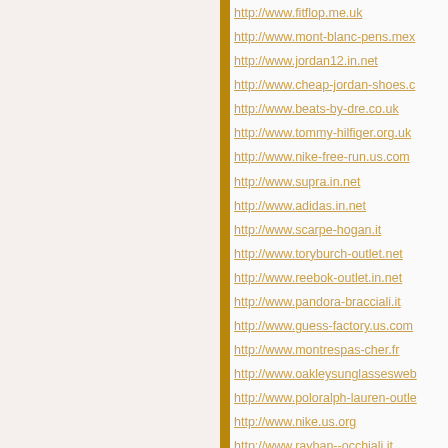http://www.fitflop.me.uk
http://www.mont-blanc-pens.mex...
http://www.jordan12.in.net
http://www.cheap-jordan-shoes.c...
http://www.beats-by-dre.co.uk
http://www.tommy-hilfiger.org.uk
http://www.nike-free-run.us.com
http://www.supra.in.net
http://www.adidas.in.net
http://www.scarpe-hogan.it
http://www.toryburch-outlet.net
http://www.reebok-outlet.in.net
http://www.pandora-bracciali.it
http://www.guess-factory.us.com
http://www.montrespas-cher.fr
http://www.oakleysunglassesweb...
http://www.poloralph-lauren-outle...
http://www.nike.us.org
http://www.rayban--occhiali.it
http://www.vans-shoes-outlet.com...
http://www.truereligion.in.net
http://www.ugg-australia.co.uk
http://www.michael-korshandbags...
http://www.nikestore.us.org
http://www.michael-jordan.it
http://www.adidasoutletstores.us...
http://www.boylondon.us.com
http://www.nikefree.in.net
http://www.soccershoes...